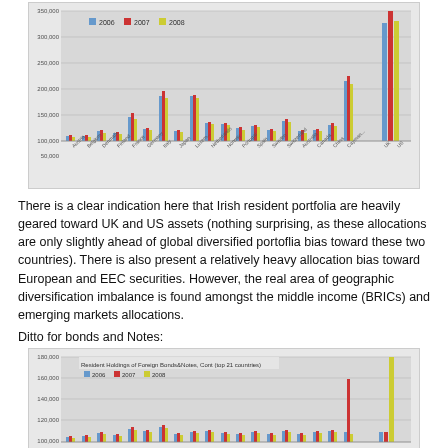[Figure (grouped-bar-chart): Grouped bar chart showing Irish resident holdings of foreign equities for top countries across 2006, 2007, 2008. The last bar (UK/US) is very tall, others are smaller. Three series: 2006 (blue), 2007 (red), 2008 (yellow).]
There is a clear indication here that Irish resident portfolia are heavily geared toward UK and US assets (nothing surprising, as these allocations are only slightly ahead of global diversified portoflia bias toward these two countries). There is also present a relatively heavy allocation bias toward European and EEC securities. However, the real area of geographic diversification imbalance is found amongst the middle income (BRICs) and emerging markets allocations.
Ditto for bonds and Notes:
[Figure (grouped-bar-chart): Grouped bar chart showing Irish resident holdings of foreign bonds/notes for top 21 countries across 2006, 2007, 2008. The last bar is very tall (yellow), second to last has a tall red bar. Three series: 2006 (blue), 2007 (red), 2008 (yellow).]